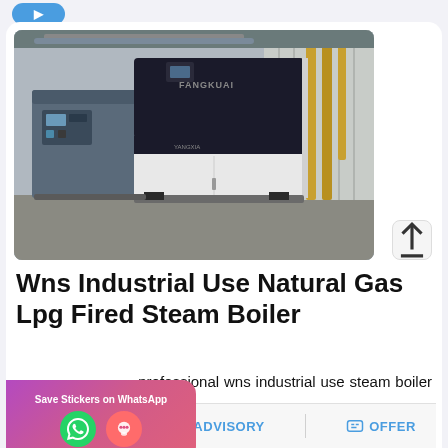[Figure (photo): Industrial WNS natural gas LPG fired steam boiler in a factory setting. Large black and white rectangular boiler unit with FANGKUAI branding, alongside control panels and yellow gas pipes.]
Wns Industrial Use Natural Gas Lpg Fired Steam Boiler
A professional wns industrial use steam boiler manufacturers and
MAIL   ADVISORY   OFFER